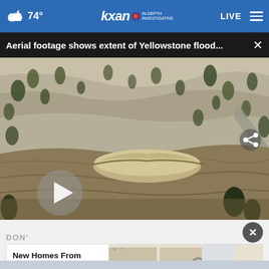74° kxan IN-DEPTH INVESTIGATIVE LIVE
Aerial footage shows extent of Yellowstone flood...
[Figure (screenshot): Aerial video thumbnail showing Yellowstone flood damage with brown floodwater, rocky hillside with scattered pine trees, and a road visible. Large play button overlay in lower left. Share icon in upper right.]
DON'
[Figure (infographic): Advertisement banner: 'New Homes From The High $200k's In Northwest Indiana' with yellow 'Explore Homes' CTA button and interior kitchen image]